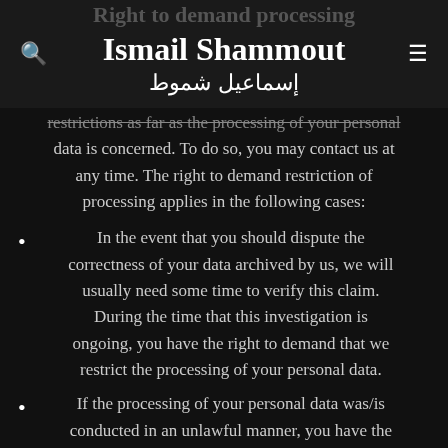Right to demand processing restrictions — Ismail Shammout / إسماعيل شموط
restrictions as far as the processing of your personal data is concerned. To do so, you may contact us at any time. The right to demand restriction of processing applies in the following cases:
In the event that you should dispute the correctness of your data archived by us, we will usually need some time to verify this claim. During the time that this investigation is ongoing, you have the right to demand that we restrict the processing of your personal data.
If the processing of your personal data was/is conducted in an unlawful manner, you have the option to demand the restriction of the